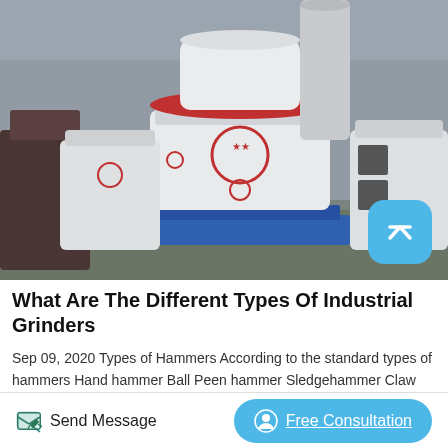[Figure (photo): Industrial grinding machines (large white cylindrical grinders) wrapped in protective packaging, sitting on blue metal pallets in a factory warehouse. Multiple machines visible, along with other industrial equipment.]
What Are The Different Types Of Industrial Grinders
Sep 09, 2020 Types of Hammers According to the standard types of hammers Hand hammer Ball Peen hammer Sledgehammer Claw hammer Club hammer Dead blow Hand hammer Ball Peen hammer Sledgehammer Claw hammer Club hammer Dead blow hammer Tack hammer Rubber mallet Framing hammer According to the
Send Message   Free Consultation